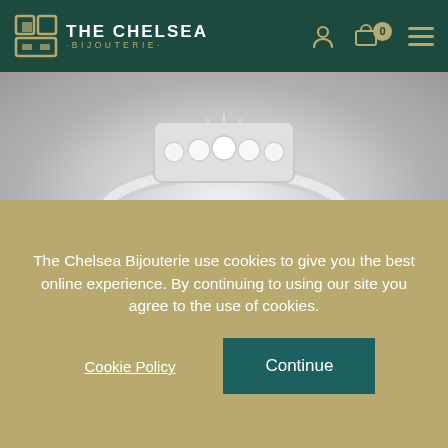THE CHELSEA BIJOUTERIE
[Figure (photo): Close-up photo of a diamond ring with multiple diamonds set in silver/platinum band, showing detailed craftsmanship]
Why Are Diamonds So Hard?
[Figure (photo): Partial view of another jewelry piece with warm/rose gold tones]
The Chelsea Bijouterie use cookies to give you the best online experience. By continuing to using our site you agree to the use of cookies.
Cookie Policy
Continue